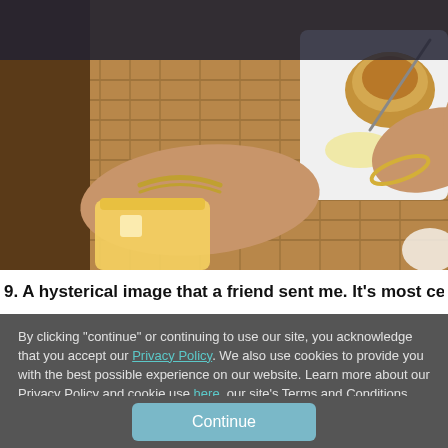[Figure (photo): A person's hands holding a fork and eating food on a white plate on a woven mat table surface. A glass of orange juice is visible on the left. The person wears a bracelet and ring.]
9. A hysterical image that a friend sent me. It's most certainly
By clicking "continue" or continuing to use our site, you acknowledge that you accept our Privacy Policy. We also use cookies to provide you with the best possible experience on our website. Learn more about our Privacy Policy and cookie use here, our site's Terms and Conditions here and Store Policy here.
Continue